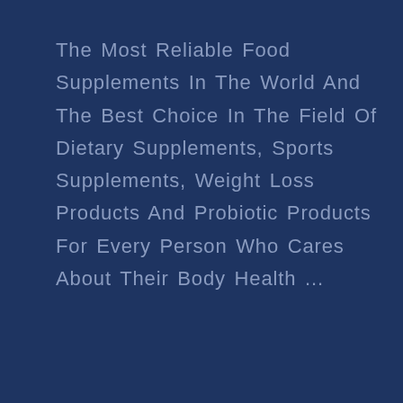The Most Reliable Food Supplements In The World And The Best Choice In The Field Of Dietary Supplements, Sports Supplements, Weight Loss Products And Probiotic Products For Every Person Who Cares About Their Body Health ...